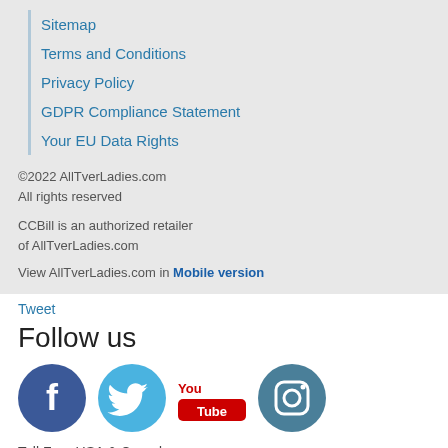Sitemap
Terms and Conditions
Privacy Policy
GDPR Compliance Statement
Your EU Data Rights
©2022 AllTverLadies.com
All rights reserved
CCBill is an authorized retailer of AllTverLadies.com
View AllTverLadies.com in Mobile version
Tweet
Follow us
[Figure (infographic): Social media icons: Facebook (dark blue circle with f), Twitter (light blue circle with bird), YouTube (red You Tube logo), Instagram (dark teal circle with camera icon)]
Toll Free USA & Canada:
+1 (888) 730-6268